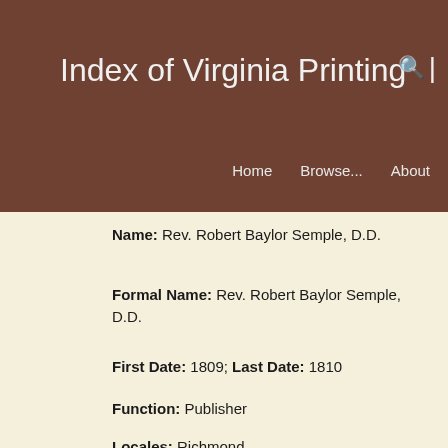Index of Virginia Printing
Home   Browse...   About
Name: Rev. Robert Baylor Semple, D.D.
Formal Name: Rev. Robert Baylor Semple, D.D.
First Date: 1809; Last Date: 1810
Function: Publisher
Locales: Richmond